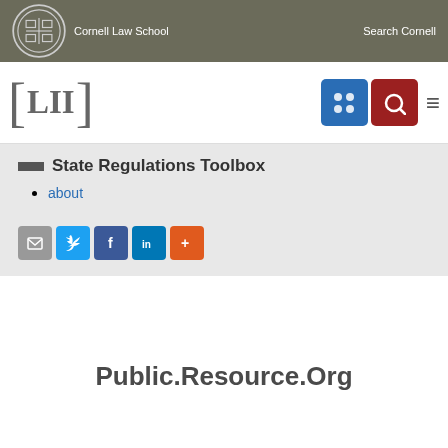[Figure (logo): Cornell Law School header bar with seal and logo, search Cornell link, LII logo with navigation icon buttons (grid and search) and hamburger menu]
State Regulations Toolbox
about
[Figure (infographic): Social share buttons: email (gray), Twitter (blue), Facebook (blue), LinkedIn (blue), More (orange)]
Public.Resource.Org